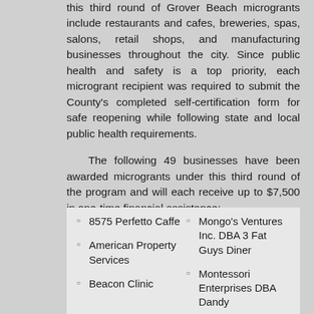this third round of Grover Beach microgrants include restaurants and cafes, breweries, spas, salons, retail shops, and manufacturing businesses throughout the city. Since public health and safety is a top priority, each microgrant recipient was required to submit the County's completed self-certification form for safe reopening while following state and local public health requirements.
The following 49 businesses have been awarded microgrants under this third round of the program and will each receive up to $7,500 in one-time financial assistance:
8575 Perfetto Caffe
American Property Services
Beacon Clinic
Mongo's Ventures Inc. DBA 3 Fat Guys Diner
Montessori Enterprises DBA Dandy...